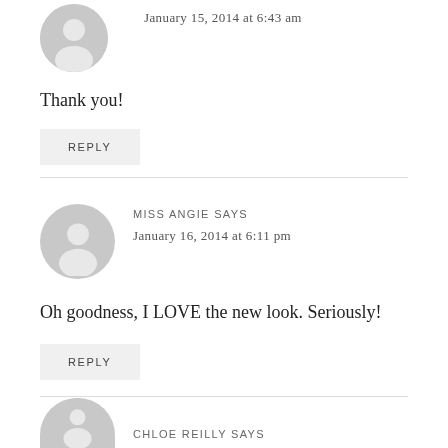January 15, 2014 at 6:43 am
Thank you!
REPLY
MISS ANGIE SAYS
January 16, 2014 at 6:11 pm
Oh goodness, I LOVE the new look. Seriously!
REPLY